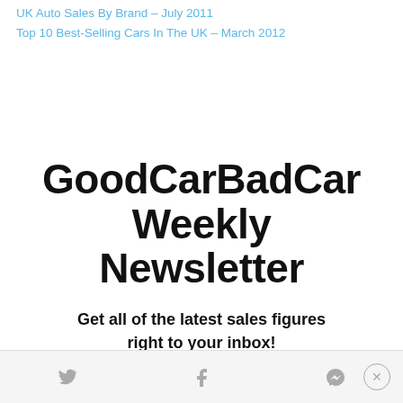UK Auto Sales By Brand – July 2011
Top 10 Best-Selling Cars In The UK – March 2012
GoodCarBadCar Weekly Newsletter
Get all of the latest sales figures right to your inbox!